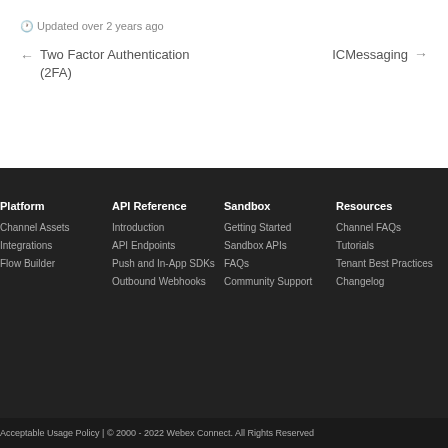Updated over 2 years ago
← Two Factor Authentication (2FA)
ICMessaging →
Platform
Channel Assets
Integrations
Flow Builder
API Reference
Introduction
API Endpoints
Push and In-App SDKs
Outbound Webhooks
Sandbox
Getting Started
Sandbox APIs
FAQs
Community Support
Resources
Channel FAQs
Tutorials
Tenant Best Practices
Changelog
Acceptable Usage Policy | © 2000 - 2022 Webex Connect. All Rights Reserved